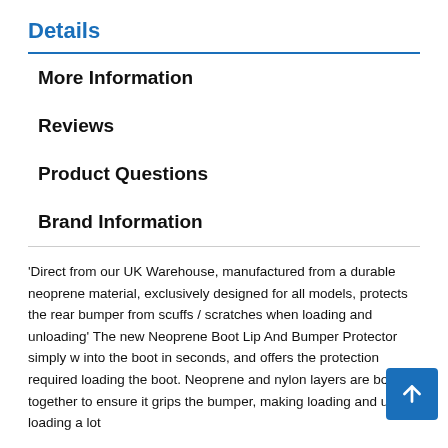Details
More Information
Reviews
Product Questions
Brand Information
'Direct from our UK Warehouse, manufactured from a durable neoprene material, exclusively designed for all models, protects the rear bumper from scuffs / scratches when loading and unloading' The new Neoprene Boot Lip And Bumper Protector simply w... into the boot in seconds, and offers the protection required... loading the boot. Neoprene and nylon layers are bonded together to ensure it grips the bumper, making loading and un-loading a lot